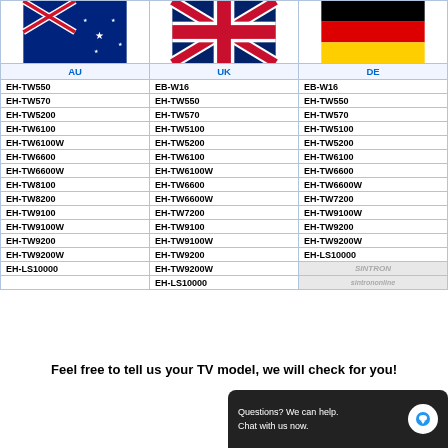[Figure (other): Three country flags for AU (Australia), UK (United Kingdom), and DE (Germany)]
| AU | UK | DE |
| --- | --- | --- |
| EH-TW550 | EB-W16 | EB-W16 |
| EH-TW570 | EH-TW550 | EH-TW550 |
| EH-TW5200 | EH-TW570 | EH-TW570 |
| EH-TW6100 | EH-TW5100 | EH-TW5100 |
| EH-TW6100W | EH-TW5200 | EH-TW5200 |
| EH-TW6600 | EH-TW6100 | EH-TW6100 |
| EH-TW6600W | EH-TW6100W | EH-TW6600 |
| EH-TW8100 | EH-TW6600 | EH-TW6600W |
| EH-TW8200 | EH-TW6600W | EH-TW7200 |
| EH-TW9100 | EH-TW7200 | EH-TW9100W |
| EH-TW9100W | EH-TW9100 | EH-TW9200 |
| EH-TW9200 | EH-TW9100W | EH-TW9200W |
| EH-TW9200W | EH-TW9200 | EH-LS10000 |
| EH-LS10000 | EH-TW9200W | [watermark] |
|  | EH-LS10000 | [watermark] |
Feel free to tell us your TV model, we will check for you!